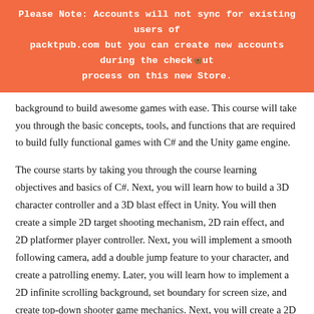Please Note: Accounts will not sync for existing users of packtpub.com but you can create new accounts during the checkout process on this new Store.
background to build awesome games with ease. This course will take you through the basic concepts, tools, and functions that are required to build fully functional games with C# and the Unity game engine.
The course starts by taking you through the course learning objectives and basics of C#. Next, you will learn how to build a 3D character controller and a 3D blast effect in Unity. You will then create a simple 2D target shooting mechanism, 2D rain effect, and 2D platformer player controller. Next, you will implement a smooth following camera, add a double jump feature to your character, and create a patrolling enemy. Later, you will learn how to implement a 2D infinite scrolling background, set boundary for screen size, and create top-down shooter game mechanics. Next, you will create a 2D top-down